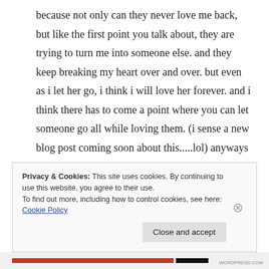because not only can they never love me back, but like the first point you talk about, they are trying to turn me into someone else. and they keep breaking my heart over and over. but even as i let her go, i think i will love her forever. and i think there has to come a point where you can let someone go all while loving them. (i sense a new blog post coming soon about this.....lol) anyways thank you this is amazing and actually
Privacy & Cookies: This site uses cookies. By continuing to use this website, you agree to their use. To find out more, including how to control cookies, see here: Cookie Policy
Close and accept